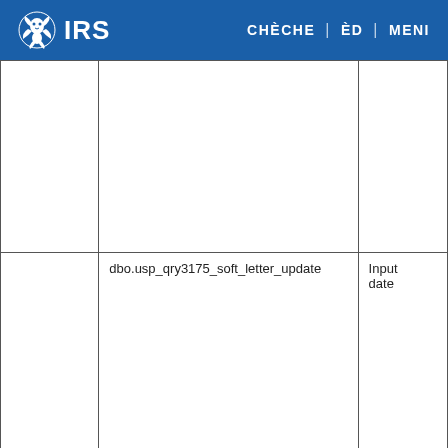IRS | CHÈCHE | ÈD | MENI
|  |  |  |
|  | dbo.usp_qry3175_soft_letter_update | Input date |